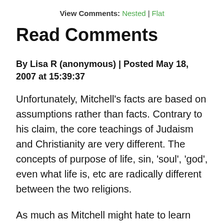View Comments: Nested | Flat
Read Comments
By Lisa R (anonymous) | Posted May 18, 2007 at 15:39:37
Unfortunately, Mitchell's facts are based on assumptions rather than facts. Contrary to his claim, the core teachings of Judaism and Christianity are very different. The concepts of purpose of life, sin, 'soul', 'god', even what life is, etc are radically different between the two religions.
As much as Mitchell might hate to learn this, Judaism does not hold to a 'single